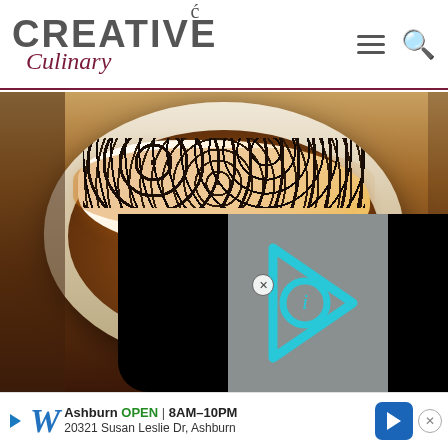[Figure (logo): Creative Culinary logo with fork/hook accent above, CREATIVE in bold gray uppercase, Culinary in dark red italic script below]
[Figure (photo): Close-up food photo of a white ceramic ramekin filled with hot chocolate, toasted marshmallows, caramel drizzle, and chocolate shavings on top. A video player overlay with cyan play button icon appears in the lower right portion of the image. A small circular close button (x) is visible near center.]
[Figure (screenshot): Advertisement banner at the bottom: Walgreens ad showing 'Ashburn OPEN 8AM-10PM / 20321 Susan Leslie Dr, Ashburn' with Walgreens W logo, play icon, navigation arrow, and close X button]